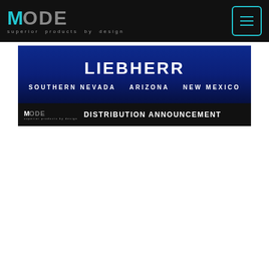MODE superior products by design
[Figure (logo): Liebherr distribution announcement banner showing LIEBHERR logo with SOUTHERN NEVADA  ARIZONA  NEW MEXICO regions and MODE superior products by design logo with DISTRIBUTION ANNOUNCEMENT text]